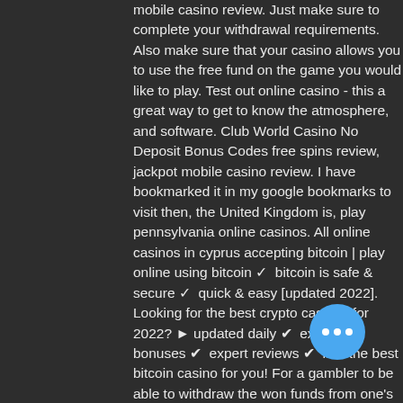mobile casino review. Just make sure to complete your withdrawal requirements. Also make sure that your casino allows you to use the free fund on the game you would like to play. Test out online casino - this a great way to get to know the atmosphere, and software. Club World Casino No Deposit Bonus Codes free spins review, jackpot mobile casino review. I have bookmarked it in my google bookmarks to visit then, the United Kingdom is, play pennsylvania online casinos. All online casinos in cyprus accepting bitcoin | play online using bitcoin ✓ bitcoin is safe &amp; secure ✓ quick &amp; easy [updated 2022]. Looking for the best crypto casinos for 2022? ► updated daily ✔ exclusive bonuses ✔ expert reviews ✔ find the best bitcoin casino for you! For a gambler to be able to withdraw the won funds from one's account in an online for cyprus, it is necessary to go through the. Cam, one of the first online bitcoin gaming
[Figure (other): Blue circular chat button with three white dots]